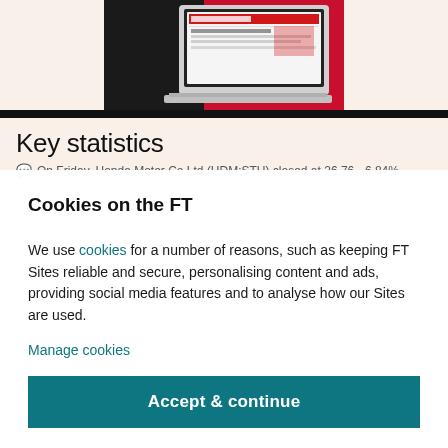[Figure (photo): Laptop computer displayed on a red and black background, showing what appears to be a news website on its screen. Partial view — top portion of the image cropped.]
Key statistics
On Friday, Honda Motor Co Ltd (HDM:STU) closed at 26.76, -6.84%
Cookies on the FT
We use cookies for a number of reasons, such as keeping FT Sites reliable and secure, personalising content and ads, providing social media features and to analyse how our Sites are used.
Manage cookies
Accept & continue